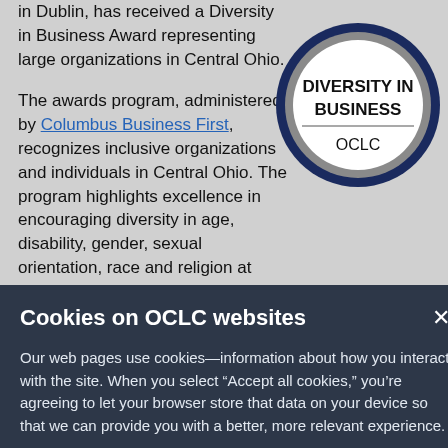in Dublin, has received a Diversity in Business Award representing large organizations in Central Ohio.
[Figure (logo): Diversity in Business badge/seal for OCLC — circular seal with dark navy blue border, gray inner ring, text 'DIVERSITY IN BUSINESS' in bold black on white, and 'OCLC' below a horizontal line.]
The awards program, administered by Columbus Business First, recognizes inclusive organizations and individuals in Central Ohio. The program highlights excellence in encouraging diversity in age, disability, gender, sexual orientation, race and religion at local workplaces.
OCLC provides shared technology services, original research and community programs to libraries worldwide. OCLC and member
Cookies on OCLC websites
Our web pages use cookies—information about how you interact with the site. When you select “Accept all cookies,” you’re agreeing to let your browser store that data on your device so that we can provide you with a better, more relevant experience.
Selecting “Reject unnecessary cookies” limits the data that’s